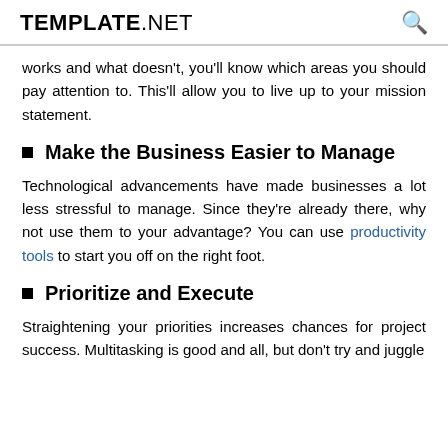TEMPLATE.NET
works and what doesn't, you'll know which areas you should pay attention to. This'll allow you to live up to your mission statement.
Make the Business Easier to Manage
Technological advancements have made businesses a lot less stressful to manage. Since they're already there, why not use them to your advantage? You can use productivity tools to start you off on the right foot.
Prioritize and Execute
Straightening your priorities increases chances for project success. Multitasking is good and all, but don't try and juggle